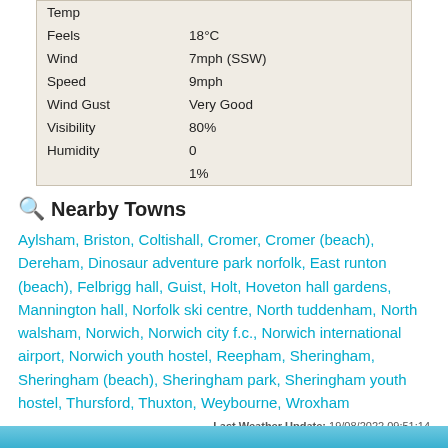|  |  |
| --- | --- |
| Temp |  |
| Feels | 18°C |
| Wind | 7mph (SSW) |
| Speed | 9mph |
| Wind Gust | Very Good |
| Visibility | 80% |
| Humidity | 0 |
|  | 1% |
🔍 Nearby Towns
Aylsham, Briston, Coltishall, Cromer, Cromer (beach), Dereham, Dinosaur adventure park norfolk, East runton (beach), Felbrigg hall, Guist, Holt, Hoveton hall gardens, Mannington hall, Norfolk ski centre, North tuddenham, North walsham, Norwich, Norwich city f.c., Norwich international airport, Norwich youth hostel, Reepham, Sheringham, Sheringham (beach), Sheringham park, Sheringham youth hostel, Thursford, Thuxton, Weybourne, Wroxham
Last Weather Update: 19/08/2022 09:51:14